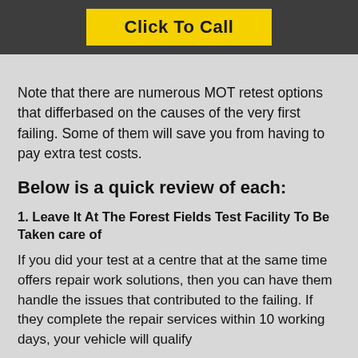Click To Call
Note that there are numerous MOT retest options that differbased on the causes of the very first failing. Some of them will save you from having to pay extra test costs.
Below is a quick review of each:
1. Leave It At The Forest Fields Test Facility To Be Taken care of
If you did your test at a centre that at the same time offers repair work solutions, then you can have them handle the issues that contributed to the failing. If they complete the repair services within 10 working days, your vehicle will qualify